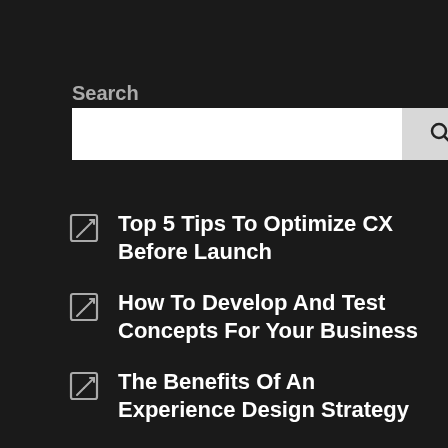Search
[Figure (screenshot): Search input box with a white text field and a light gray search button with magnifying glass icon]
Top 5 Tips To Optimize CX Before Launch
How To Develop And Test Concepts For Your Business
The Benefits Of An Experience Design Strategy
How To Create An Audience Testing Pl...